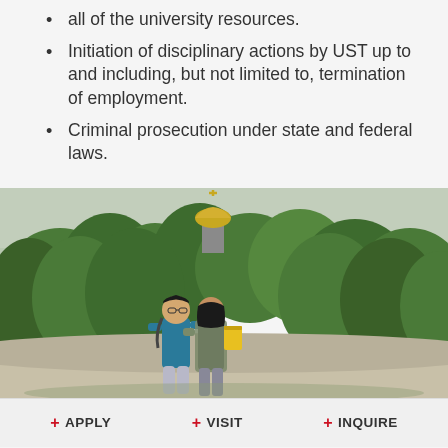all of the university resources.
Initiation of disciplinary actions by UST up to and including, but not limited to, termination of employment.
Criminal prosecution under state and federal laws.
[Figure (photo): Two students (a young man and a young woman) talking outdoors on a campus walkway surrounded by green trees, with a golden domed church tower with a cross visible in the background against an overcast sky.]
+ APPLY   + VISIT   + INQUIRE